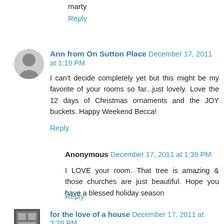marty
Reply
Ann from On Sutton Place  December 17, 2011 at 1:19 PM
I can't decide completely yet but this might be my favorite of your rooms so far...just lovely. Love the 12 days of Christmas ornaments and the JOY buckets. Happy Weekend Becca!
Reply
Anonymous  December 17, 2011 at 1:39 PM
I LOVE your room. That tree is amazing & those churches are just beautiful. Hope you have a blessed holiday season
Reply
for the love of a house  December 17, 2011 at 3:28 PM